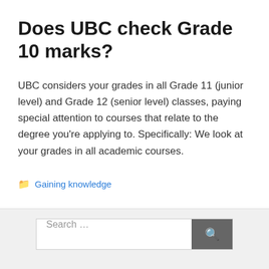Does UBC check Grade 10 marks?
UBC considers your grades in all Grade 11 (junior level) and Grade 12 (senior level) classes, paying special attention to courses that relate to the degree you’re applying to. Specifically: We look at your grades in all academic courses.
Gaining knowledge
Search ...